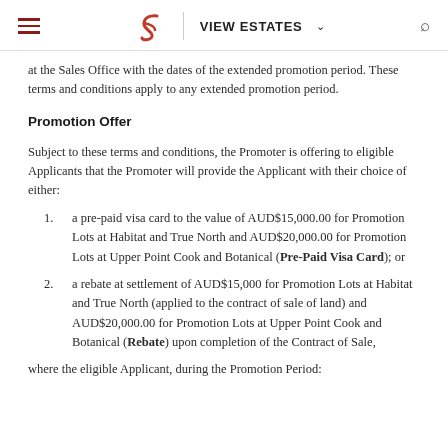VIEW ESTATES
at the Sales Office with the dates of the extended promotion period. These terms and conditions apply to any extended promotion period.
Promotion Offer
Subject to these terms and conditions, the Promoter is offering to eligible Applicants that the Promoter will provide the Applicant with their choice of either:
a pre-paid visa card to the value of AUD$15,000.00 for Promotion Lots at Habitat and True North and AUD$20,000.00 for Promotion Lots at Upper Point Cook and Botanical (Pre-Paid Visa Card); or
a rebate at settlement of AUD$15,000 for Promotion Lots at Habitat and True North (applied to the contract of sale of land) and AUD$20,000.00 for Promotion Lots at Upper Point Cook and Botanical (Rebate) upon completion of the Contract of Sale,
where the eligible Applicant, during the Promotion Period: